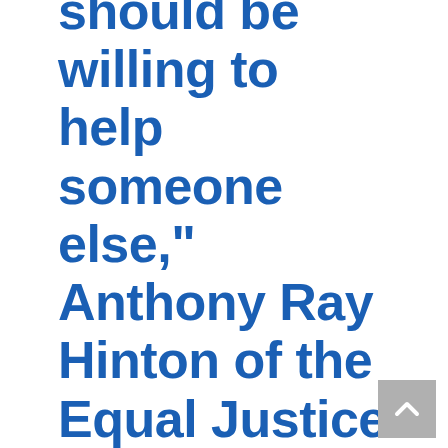should be willing to help someone else," Anthony Ray Hinton of the Equal Justice Initiative